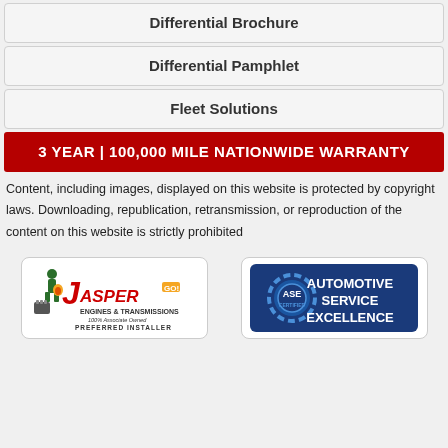Differential Brochure
Differential Pamphlet
Fleet Solutions
3 YEAR | 100,000 MILE NATIONWIDE WARRANTY
Content, including images, displayed on this website is protected by copyright laws. Downloading, republication, retransmission, or reproduction of the content on this website is strictly prohibited
[Figure (logo): Jasper Engines & Transmissions - 100% Associate Owned - Preferred Installer logo]
[Figure (logo): ASE Certified - Automotive Service Excellence logo]